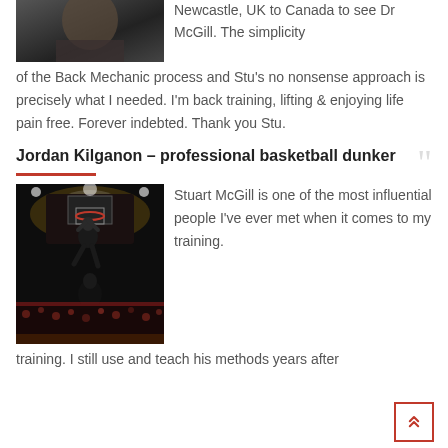[Figure (photo): Photo of a person (partial, top of page)]
Newcastle, UK to Canada to see Dr McGill. The simplicity of the Back Mechanic process and Stu's no nonsense approach is precisely what I needed. I'm back training, lifting & enjoying life pain free. Forever indebted. Thank you Stu.
Jordan Kilganon – professional basketball dunker
[Figure (photo): Basketball arena photo showing a dunker at a professional basketball game with crowd in background]
Stuart McGill is one of the most influential people I've ever met when it comes to my training. I still use and teach his methods years after